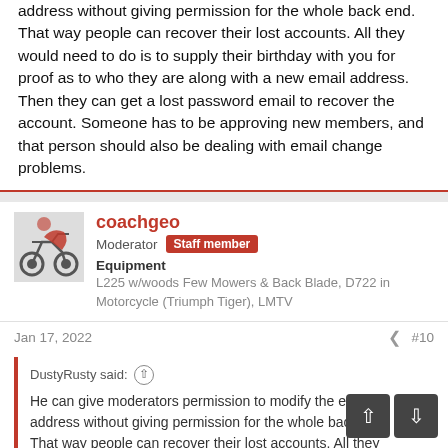address without giving permission for the whole back end. That way people can recover their lost accounts. All they would need to do is to supply their birthday with you for proof as to who they are along with a new email address. Then they can get a lost password email to recover the account. Someone has to be approving new members, and that person should also be dealing with email change problems.
coachgeo — Moderator, Staff member — Equipment: L225 w/woods Few Mowers & Back Blade, D722 in Motorcycle (Triumph Tiger), LMTV
Jan 17, 2022  #10
DustyRusty said: He can give moderators permission to modify the email address without giving permission for the whole back end. That way people can recover their lost accounts. All they